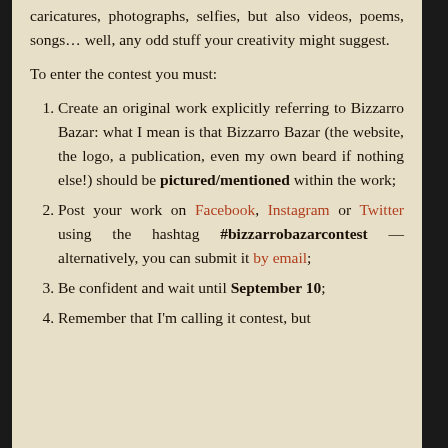caricatures, photographs, selfies, but also videos, poems, songs… well, any odd stuff your creativity might suggest.
To enter the contest you must:
Create an original work explicitly referring to Bizzarro Bazar: what I mean is that Bizzarro Bazar (the website, the logo, a publication, even my own beard if nothing else!) should be pictured/mentioned within the work;
Post your work on Facebook, Instagram or Twitter using the hashtag #bizzarrobazarcontest — alternatively, you can submit it by email;
Be confident and wait until September 10;
Remember that I'm calling it contest, but